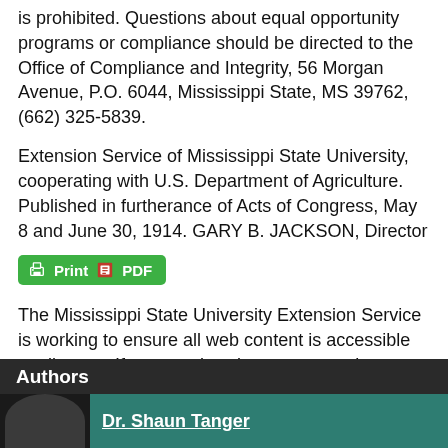is prohibited. Questions about equal opportunity programs or compliance should be directed to the Office of Compliance and Integrity, 56 Morgan Avenue, P.O. 6044, Mississippi State, MS 39762, (662) 325-5839.
Extension Service of Mississippi State University, cooperating with U.S. Department of Agriculture. Published in furtherance of Acts of Congress, May 8 and June 30, 1914. GARY B. JACKSON, Director
[Figure (other): Green button with printer icon labeled Print and PDF icon labeled PDF]
The Mississippi State University Extension Service is working to ensure all web content is accessible to all users. If you need assistance accessing any of our content, please email the webteam or call 662-325-2262.
Authors
Dr. Shaun Tanger